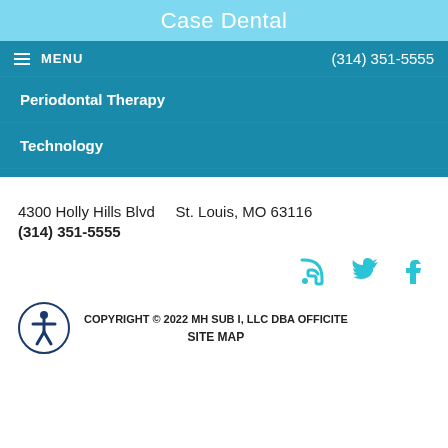Case Dental
≡ MENU   (314) 351-5555
Periodontal Therapy
Technology
4300 Holly Hills Blvd   St. Louis, MO 63116
(314) 351-5555
[Figure (other): Social media icons: RSS feed, Twitter, Facebook in teal/cyan color]
COPYRIGHT © 2022 MH SUB I, LLC DBA OFFICITE
SITE MAP